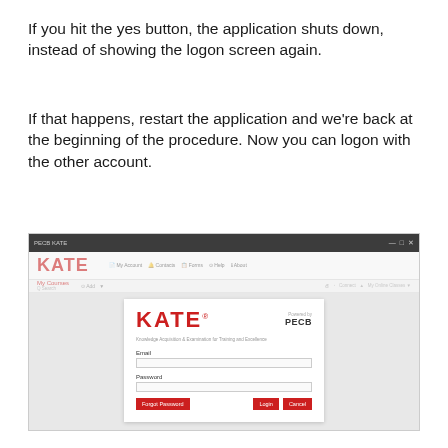If you hit the yes button, the application shuts down, instead of showing the logon screen again.
If that happens, restart the application and we're back at the beginning of the procedure. Now you can logon with the other account.
[Figure (screenshot): Screenshot of the KATE application showing the logon dialog overlay. The application window has a dark title bar with 'PECB KATE' text and window controls. Behind the dialog, the blurred KATE application interface is visible with red KATE logo, My Courses menu, and navigation items. In the foreground is a white login panel showing the KATE logo in red, 'Powered by PECB' text, Email and Password input fields, and three red buttons: Forgot Password, Login, and Cancel.]